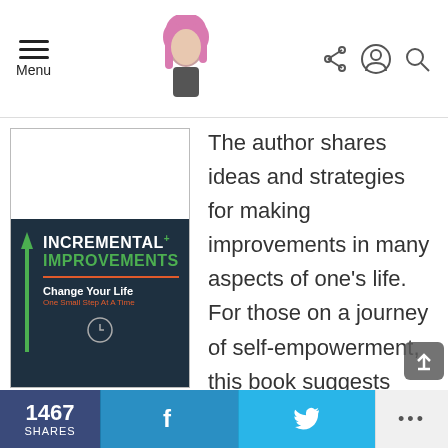Menu [hamburger icon] [avatar/logo] [share icon] [user icon] [search icon]
[Figure (illustration): Book cover for 'Incremental Improvements: Change Your Life One Small Step At A Time' — dark teal cover with green arrow, white and green bold title text, orange/red divider line, white subtitle and orange subtitle text]
The author shares ideas and strategies for making improvements in many aspects of one's life. For those on a journey of self-empowerment, this book suggests many potential actions and behaviors that can help to lead the reader on the
1467 SHARES  f  [Twitter bird]  ...